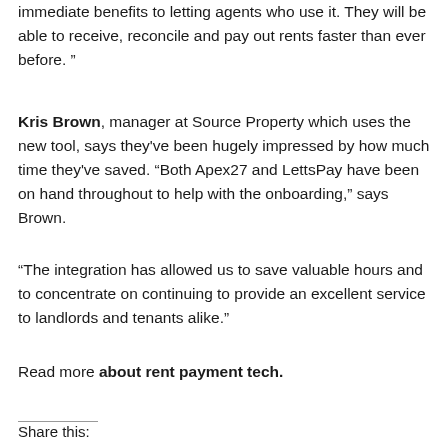immediate benefits to letting agents who use it. They will be able to receive, reconcile and pay out rents faster than ever before. "
Kris Brown, manager at Source Property which uses the new tool, says they've been hugely impressed by how much time they've saved. "Both Apex27 and LettsPay have been on hand throughout to help with the onboarding," says Brown.
"The integration has allowed us to save valuable hours and to concentrate on continuing to provide an excellent service to landlords and tenants alike."
Read more about rent payment tech.
Share this: